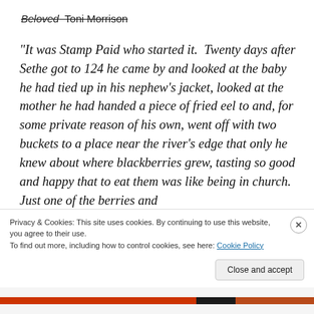Beloved  Toni Morrison
“It was Stamp Paid who started it.  Twenty days after Sethe got to 124 he came by and looked at the baby he had tied up in his nephew’s jacket, looked at the mother he had handed a piece of fried eel to and, for some private reason of his own, went off with two buckets to a place near the river’s edge that only he knew about where blackberries grew, tasting so good and happy that to eat them was like being in church.  Just one of the berries and
Privacy & Cookies: This site uses cookies. By continuing to use this website, you agree to their use.
To find out more, including how to control cookies, see here: Cookie Policy